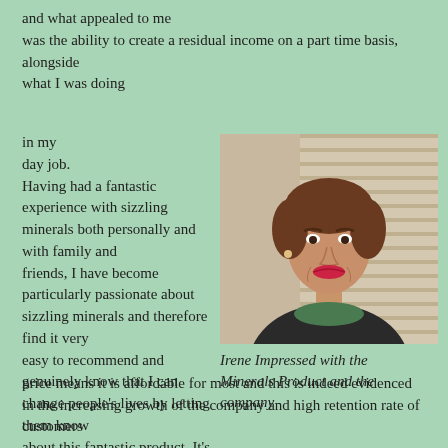and what appealed to me was the ability to create a residual income on a part time basis, alongside what I was doing
in my day job. Having had a fantastic experience with sizzling minerals both personally and with family and friends, I have become particularly passionate about sizzling minerals and therefore find it very easy to recommend and genuinely know that I can change people's lives by letting them know about this fantastic product. It's price means it is affordable for most and this is indeed evidenced in the increasing growth of the company and high retention rate of customers
[Figure (photo): Portrait photo of a woman named Irene, wearing a dark blazer and green top, with short brown hair, smiling, in front of wooden blinds.]
Irene Impressed with the Minerals Product and the company